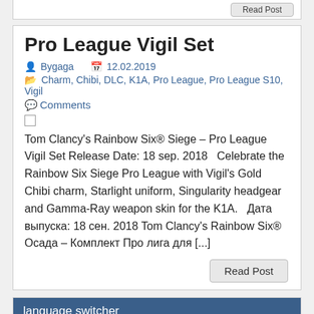Pro League Vigil Set
Bygaga  12.02.2019
Charm, Chibi, DLC, K1A, Pro League, Pro League S10, Vigil
Comments
Tom Clancy's Rainbow Six® Siege – Pro League Vigil Set Release Date: 18 sep. 2018   Celebrate the Rainbow Six Siege Pro League with Vigil's Gold Chibi charm, Starlight uniform, Singularity headgear and Gamma-Ray weapon skin for the K1A.   Дата выпуска: 18 сен. 2018 Tom Clancy's Rainbow Six® Осада – Комплект Про лига для [...]
language switcher
English
Русский